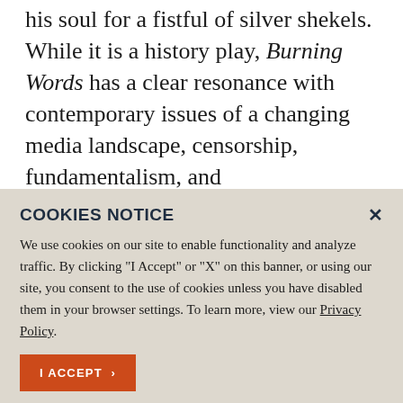his soul for a fistful of silver shekels. While it is a history play, Burning Words has a clear resonance with contemporary issues of a changing media landscape, censorship, fundamentalism, and
COOKIES NOTICE
We use cookies on our site to enable functionality and analyze traffic. By clicking "I Accept" or "X" on this banner, or using our site, you consent to the use of cookies unless you have disabled them in your browser settings. To learn more, view our Privacy Policy.